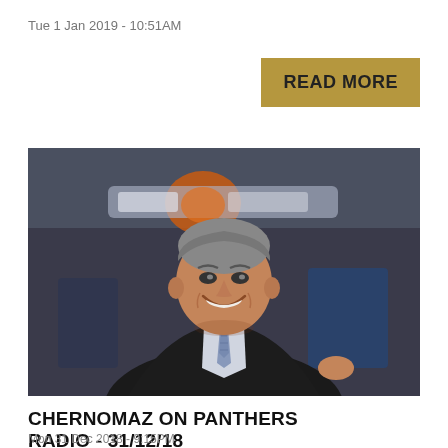Tue 1 Jan 2019 - 10:51AM
READ MORE
[Figure (photo): A smiling middle-aged man in a dark suit and tie standing on a basketball court, with blurred arena signage in the background.]
CHERNOMAZ ON PANTHERS RADIO - 31/12/18
Mon 31 Dec 2018 - 9:15PM